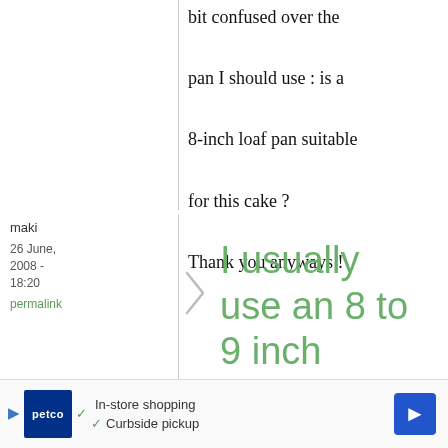bit confused over the pan I should use : is a 8-inch loaf pan suitable for this cake ? Thank you anyways !
maki
26 June, 2008 - 18:20
permalink
I usually use an 8 to 9 inch
I usually use an 8 to
In-store shopping
Curbside pickup